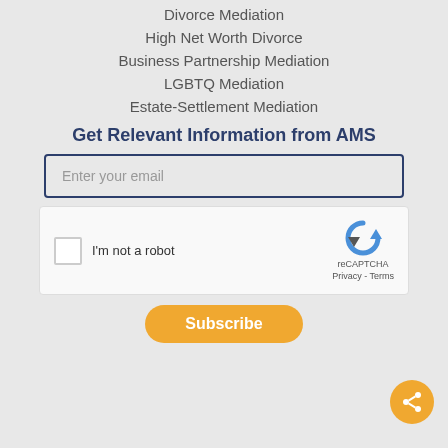Divorce Mediation
High Net Worth Divorce
Business Partnership Mediation
LGBTQ Mediation
Estate-Settlement Mediation
Get Relevant Information from AMS
Enter your email
[Figure (other): reCAPTCHA widget with checkbox labeled I'm not a robot]
Subscribe